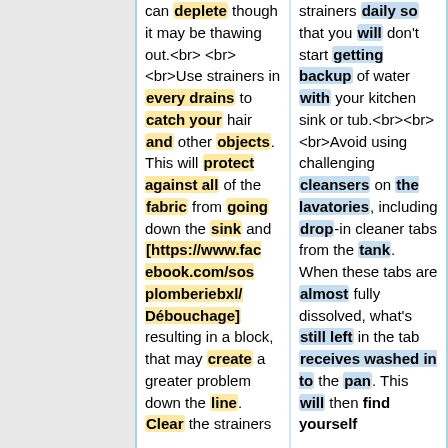can deplete though it may be thawing out.<br><br><br>Use strainers in every drains to catch your hair and other objects. This will protect against all of the fabric from going down the sink and [https://www.facebook.com/sosplomberiebxl/Débouchage] resulting in a block, that may create a greater problem down the line. Clear the strainers
strainers daily so that you will don't start getting backup of water with your kitchen sink or tub.<br><br><br>Avoid using challenging cleansers on the lavatories, including drop-in cleaner tabs from the tank. When these tabs are almost fully dissolved, what's still left in the tab receives washed in to the pan. This will then find yourself